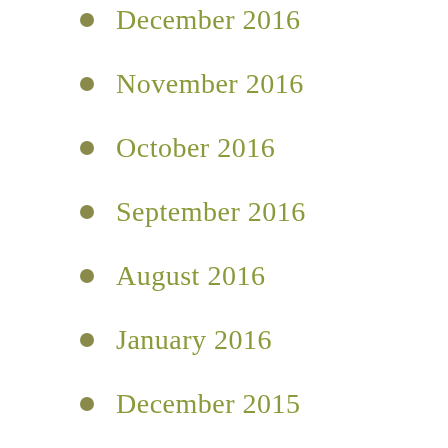December 2016
November 2016
October 2016
September 2016
August 2016
January 2016
December 2015
November 2015
July 2015
June 2015
May 2015
April 2015
February 2015
January 2015
December 2014